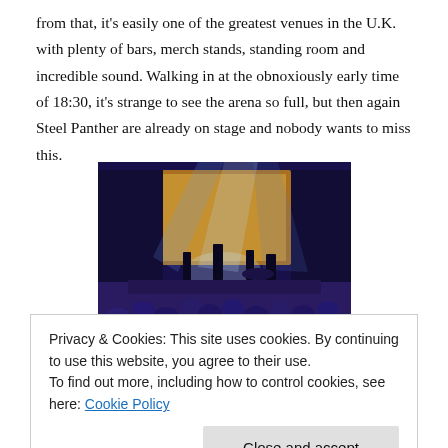from that, it's easily one of the greatest venues in the U.K. with plenty of bars, merch stands, standing room and incredible sound. Walking in at the obnoxiously early time of 18:30, it's strange to see the arena so full, but then again Steel Panther are already on stage and nobody wants to miss this.
[Figure (photo): Concert photo showing a band performing on stage with bright blue/white stage lighting, a large screen backdrop visible, and an audience crowd in the foreground.]
Opening with 'Supersonic Sex Machine' from their new album, Balls Out,
Privacy & Cookies: This site uses cookies. By continuing to use this website, you agree to their use.
To find out more, including how to control cookies, see here: Cookie Policy
Close and accept
open invite to return to the UK anytime they choose; but the night's over yet